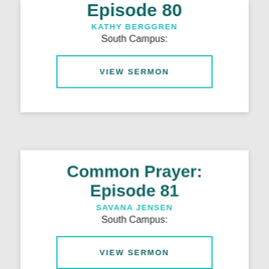Episode 80
KATHY BERGGREN
South Campus:
VIEW SERMON
Common Prayer: Episode 81
SAVANA JENSEN
South Campus:
VIEW SERMON